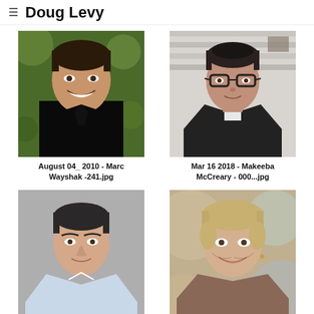Doug Levy
[Figure (photo): Headshot of Marc Wayshak, man smiling, black shirt, green bokeh background]
August 04_ 2010 - Marc Wayshak -241.jpg
[Figure (photo): Headshot of Makeeba McCreary, woman with glasses, dark leather jacket, light brick wall background]
Mar 16 2018 - Makeeba McCreary - 000...jpg
[Figure (photo): Headshot of man in blue/white shirt, gray background, partially visible]
[Figure (photo): Headshot of older woman smiling, short blonde hair, blurred colorful background, partially visible]